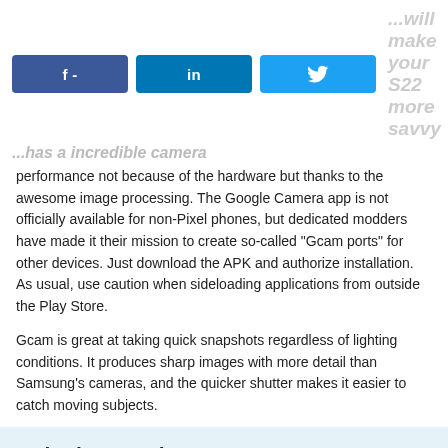[Figure (other): Social share buttons: Facebook (f -), LinkedIn (in), Twitter (bird icon)]
...will make your S22 more savvy ... has a incredible camera performance not because of the hardware but thanks to the awesome image processing. The Google Camera app is not officially available for non-Pixel phones, but dedicated modders have made it their mission to create so-called “Gcam ports” for other devices. Just download the APK and authorize installation. As usual, use caution when sideloading applications from outside the Play Store.
Gcam is great at taking quick snapshots regardless of lighting conditions. It produces sharp images with more detail than Samsung’s cameras, and the quicker shutter makes it easier to catch moving subjects.
Join the newsletter!
Email address
Join